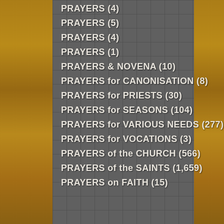PRAYERS (4)
PRAYERS (5)
PRAYERS (4)
PRAYERS (1)
PRAYERS & NOVENA (10)
PRAYERS for CANONISATION (8)
PRAYERS for PRIESTS (30)
PRAYERS for SEASONS (104)
PRAYERS for VARIOUS NEEDS (277)
PRAYERS for VOCATIONS (3)
PRAYERS of the CHURCH (566)
PRAYERS of the SAINTS (1,659)
PRAYERS on FAITH (15)